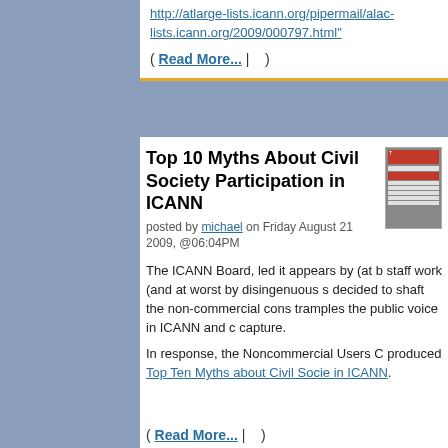http://atlarge-lists.icann.org/pipermail/alac-lists.icann.org/2009/000797.html"
( Read More... | )
Top 10 Myths About Civil Society Participation in ICANN
posted by michael on Friday August 21 2009, @06:04PM
The ICANN Board, led it appears by (at best by staff work (and at worst by disingenuous s decided to shaft the non-commercial cons tramples the public voice in ICANN and c capture.
In response, the Noncommercial Users C produced Top Ten Myths about Civil Socie in ICANN.
( Read More... | )